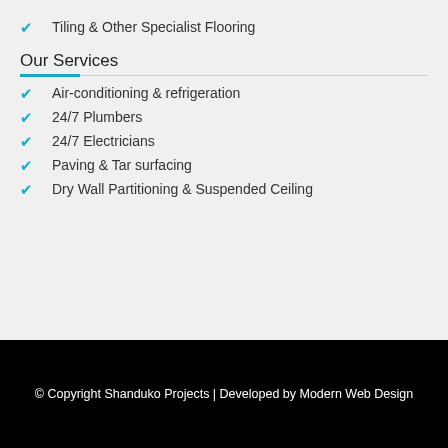Tiling & Other Specialist Flooring
Our Services
Air-conditioning & refrigeration
24/7 Plumbers
24/7 Electricians
Paving & Tar surfacing
Dry Wall Partitioning & Suspended Ceiling
© Copyright Shanduko Projects | Developed by Modern Web Design